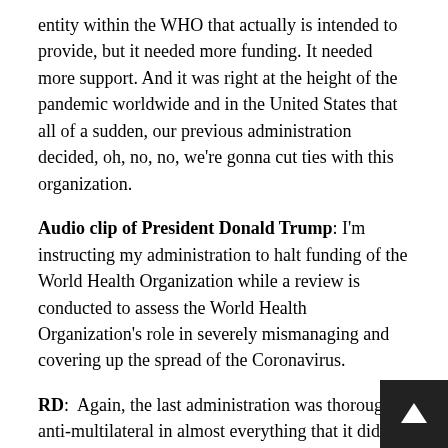entity within the WHO that actually is intended to provide, but it needed more funding. It needed more support. And it was right at the height of the pandemic worldwide and in the United States that all of a sudden, our previous administration decided, oh, no, no, we're gonna cut ties with this organization.
Audio clip of President Donald Trump: I'm instructing my administration to halt funding of the World Health Organization while a review is conducted to assess the World Health Organization's role in severely mismanaging and covering up the spread of the Coronavirus.
RD: Again, the last administration was thoroughly anti-multilateral in almost everything that it did. And you know, and it argued that China was actually working inside multilateral organizations to advance its own interests. Well, what is the purpose of